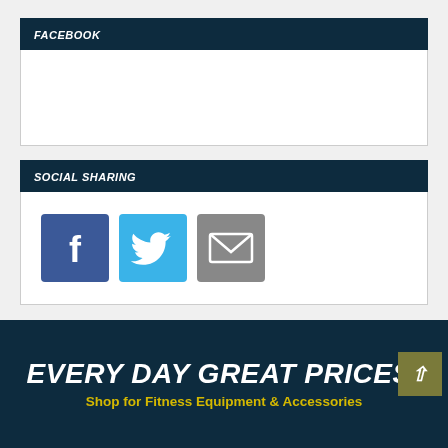FACEBOOK
[Figure (other): Facebook widget embed area (empty white box)]
SOCIAL SHARING
[Figure (infographic): Social sharing icons: Facebook (blue square with 'f'), Twitter (blue square with bird icon), Email (grey square with envelope icon)]
EVERY DAY GREAT PRICES!
Shop for Fitness Equipment & Accessories